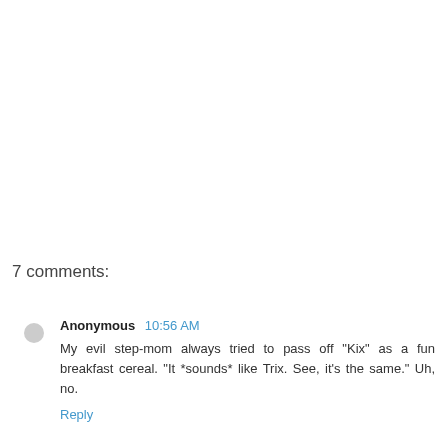7 comments:
Anonymous  10:56 AM
My evil step-mom always tried to pass off "Kix" as a fun breakfast cereal. "It *sounds* like Trix. See, it's the same." Uh, no.
Reply